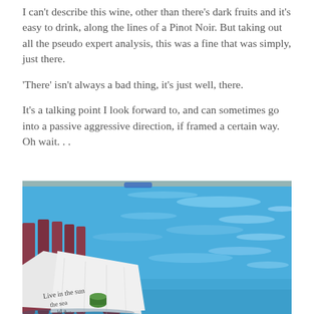I can't describe this wine, other than there's dark fruits and it's easy to drink, along the lines of a Pinot Noir. But taking out all the pseudo expert analysis, this was a fine that was simply, just there.
'There' isn't always a bad thing, it's just well, there.
It's a talking point I look forward to, and can sometimes go into a passive aggressive direction, if framed a certain way.  Oh wait. . .
[Figure (photo): Outdoor poolside scene showing a red/maroon Adirondack chair beside a bright blue swimming pool. A white cloth or towel with text 'Live in the sun...' and partial text visible, along with a small green object, is draped over the chair arm. The pool water sparkles with sunlight.]